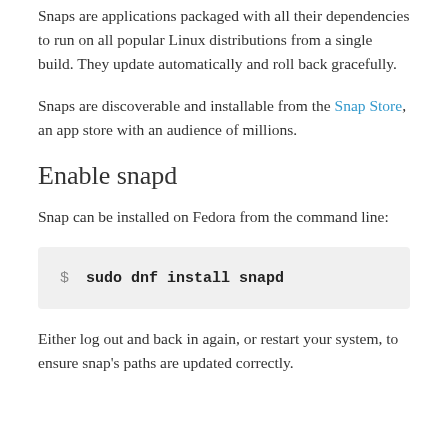Snaps are applications packaged with all their dependencies to run on all popular Linux distributions from a single build. They update automatically and roll back gracefully.
Snaps are discoverable and installable from the Snap Store, an app store with an audience of millions.
Enable snapd
Snap can be installed on Fedora from the command line:
$ sudo dnf install snapd
Either log out and back in again, or restart your system, to ensure snap's paths are updated correctly.